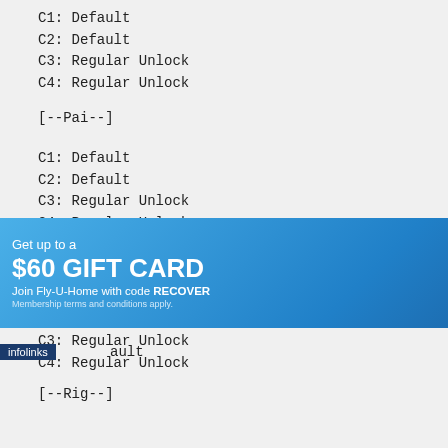C1: Default
C2: Default
C3: Regular Unlock
C4: Regular Unlock
[--Pai--]
C1: Default
C2: Default
C3: Regular Unlock
C4: Regular Unlock
[--Rachel--]
C1: Default
C2: Default
C3: Regular Unlock
C4: Regular Unlock
[--Rig--]
ault
[Figure (infographic): Advertisement banner: infolinks label, Get up to a $60 GIFT CARD, Join Fly-U-Home with code RECOVER, AMCN Fly-U-Home logo]